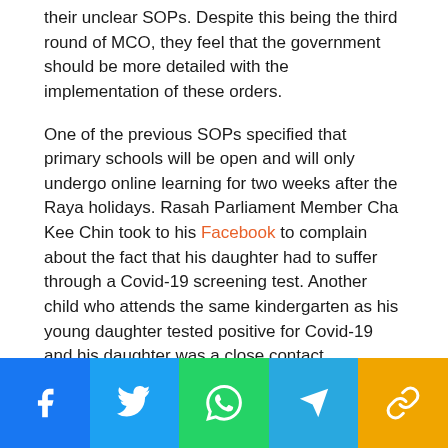their unclear SOPs. Despite this being the third round of MCO, they feel that the government should be more detailed with the implementation of these orders.
One of the previous SOPs specified that primary schools will be open and will only undergo online learning for two weeks after the Raya holidays. Rasah Parliament Member Cha Kee Chin took to his Facebook to complain about the fact that his daughter had to suffer through a Covid-19 screening test. Another child who attends the same kindergarten as his young daughter tested positive for Covid-19 and his daughter was a close contact.
[Figure (other): Social media sharing bar with Facebook, Twitter, WhatsApp, Telegram, and copy-link buttons]